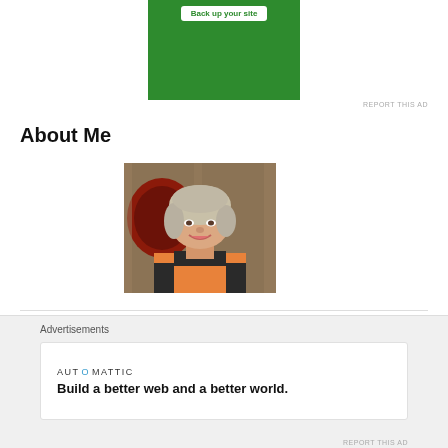[Figure (other): Green advertisement banner with white button text partially visible at top reading 'Back up your site']
REPORT THIS AD
About Me
[Figure (photo): Portrait photo of a smiling woman with short silver-blonde hair wearing an orange turtleneck and dark vest, with a red wreath and wooden fence in the background]
Follow Me Here
Advertisements
[Figure (other): Advertisement card with AUTOMATTIC logo and text 'Build a better web and a better world.']
REPORT THIS AD